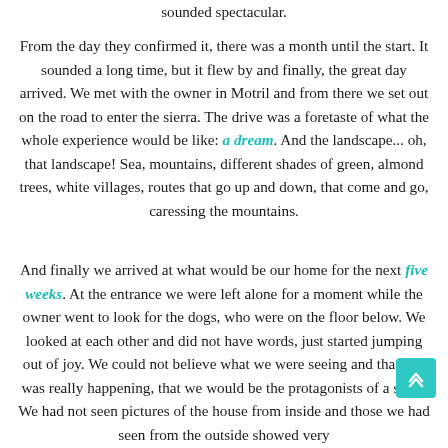sounded spectacular.
From the day they confirmed it, there was a month until the start. It sounded a long time, but it flew by and finally, the great day arrived. We met with the owner in Motril and from there we set out on the road to enter the sierra. The drive was a foretaste of what the whole experience would be like: a dream. And the landscape... oh, that landscape! Sea, mountains, different shades of green, almond trees, white villages, routes that go up and down, that come and go, caressing the mountains.
And finally we arrived at what would be our home for the next five weeks. At the entrance we were left alone for a moment while the owner went to look for the dogs, who were on the floor below. We looked at each other and did not have words, just started jumping out of joy. We could not believe what we were seeing and that this was really happening, that we would be the protagonists of a story. We had not seen pictures of the house from inside and those we had seen from the outside showed very